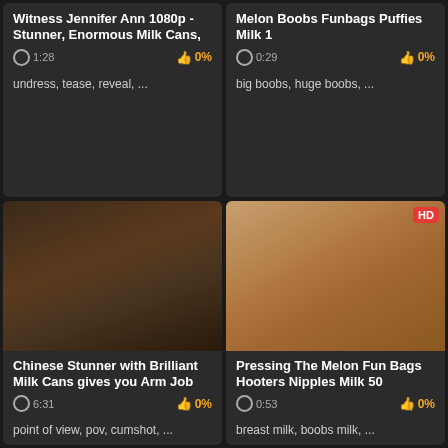[Figure (screenshot): Video thumbnail card: Witness Jennifer Ann 1080p - Stunner, Enormous Milk Cans, duration 1:28, 0% like, tags: undress, tease, reveal, ...]
[Figure (screenshot): Video thumbnail card: Melon Boobs Funbags Puffies Milk 1, duration 0:29, 0% like, tags: big boobs, huge boobs, ...]
[Figure (screenshot): Video thumbnail card with image: Chinese Stunner with Brilliant Milk Cans gives you Arm Job, duration 6:31, 0% like, tags: point of view, pov, cumshot, ...]
[Figure (screenshot): Video thumbnail card with image HD badge: Pressing The Melon Fun Bags Hooters Nipples Milk 50, duration 0:53, 0% like, tags: breast milk, boobs milk, ...]
[Figure (screenshot): Video thumbnail card with image HD badge: blonde woman on red background]
[Figure (screenshot): Video thumbnail card with image HD badge: dark-haired woman in red outfit]